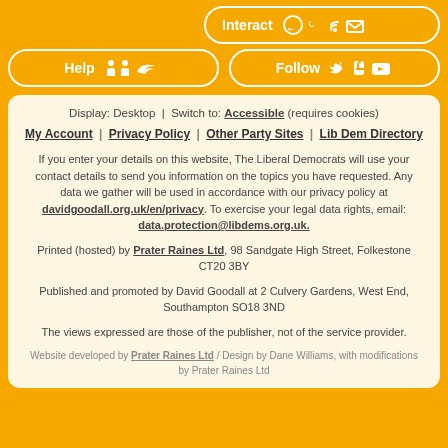[Figure (screenshot): Orange navigation buttons: Interact (with chat, phone, RSS, email icons), Help (with person and lib dem bird icons), Follow (with Twitter, Facebook, YouTube icons)]
Display: Desktop | Switch to: Accessible (requires cookies)
My Account | Privacy Policy | Other Party Sites | Lib Dem Directory
If you enter your details on this website, The Liberal Democrats will use your contact details to send you information on the topics you have requested. Any data we gather will be used in accordance with our privacy policy at davidgoodall.org.uk/en/privacy. To exercise your legal data rights, email: data.protection@libdems.org.uk.
Printed (hosted) by Prater Raines Ltd, 98 Sandgate High Street, Folkestone CT20 3BY
Published and promoted by David Goodall at 2 Culvery Gardens, West End, Southampton SO18 3ND
The views expressed are those of the publisher, not of the service provider.
Website developed by Prater Raines Ltd / Design by Dane Williams, with modifications by Prater Raines Ltd